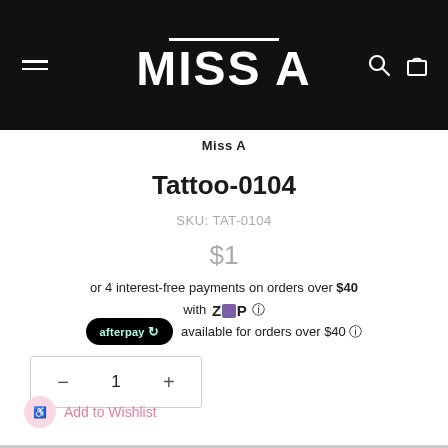[Figure (logo): MISS A store logo in white on black header background]
Miss A
Tattoo-0104
SKU: TAT-0104
$1
or 4 interest-free payments on orders over $40 with Zip
afterpay available for orders over $40
1
Add to Wishlist